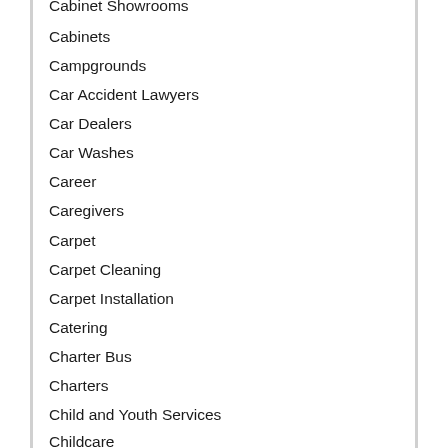Cabinet Showrooms (partial, cut off at top)
Cabinets
Campgrounds
Car Accident Lawyers
Car Dealers
Car Washes
Career
Caregivers
Carpet
Carpet Cleaning
Carpet Installation
Catering
Charter Bus
Charters
Child and Youth Services
Childcare (partial, cut off at bottom)